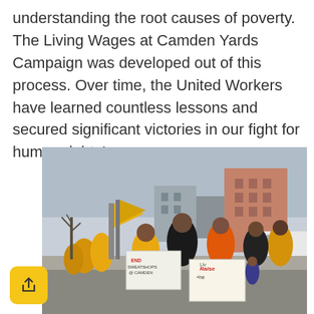understanding the root causes of poverty. The Living Wages at Camden Yards Campaign was developed out of this process. Over time, the United Workers have learned countless lessons and secured significant victories in our fight for human rights!
[Figure (photo): A street march/protest with people wearing yellow t-shirts carrying yellow flags and signs reading 'END SWEATSHOPS @ CAMDEN', 'Liv[ing Wages]', and 'Raise the [wage]'. Buildings and a bus are visible in the background.]